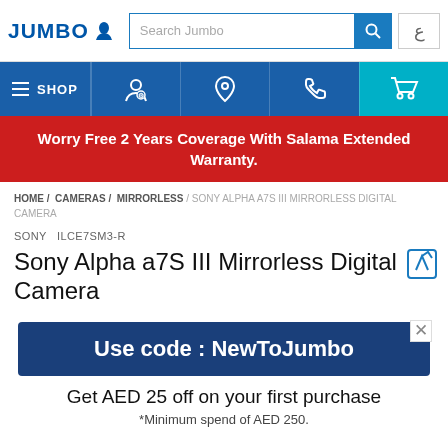[Figure (logo): JUMBO logo with person silhouette icon in blue]
Search Jumbo
Navigation bar with SHOP, account, location, phone, and cart icons
Worry Free 2 Years Coverage With Salama Extended Warranty.
HOME / CAMERAS / MIRRORLESS / SONY ALPHA A7S III MIRRORLESS DIGITAL CAMERA
SONY  ILCE7SM3-R
Sony Alpha a7S III Mirrorless Digital Camera
Use code : NewToJumbo
Get AED 25 off on your first purchase
*Minimum spend of AED 250.